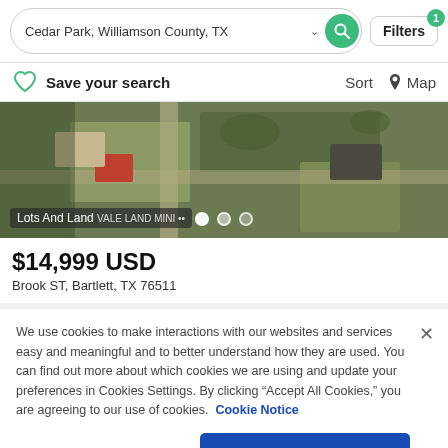Cedar Park, Williamson County, TX — Search with Filters
Save your search   Sort   Map
[Figure (photo): Aerial satellite view of lots and land property in Bartlett, TX. Label reads 'Lots And Land'. Navigation dots visible at bottom.]
$14,999 USD
Brook ST, Bartlett, TX 76511
We use cookies to make interactions with our websites and services easy and meaningful and to better understand how they are used. You can find out more about which cookies we are using and update your preferences in Cookies Settings. By clicking "Accept All Cookies," you are agreeing to our use of cookies.  Cookie Notice
Cookies Settings   Accept All Cookies